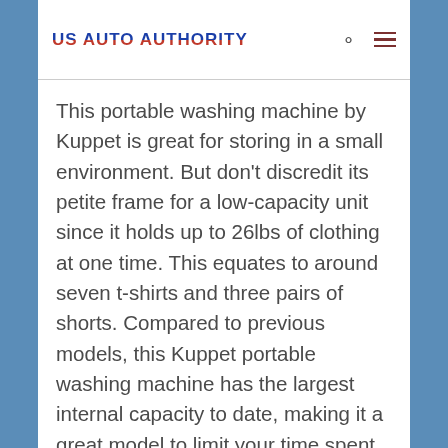US AUTO AUTHORITY
This portable washing machine by Kuppet is great for storing in a small environment. But don’t discredit its petite frame for a low-capacity unit since it holds up to 26lbs of clothing at one time. This equates to around seven t-shirts and three pairs of shorts. Compared to previous models, this Kuppet portable washing machine has the largest internal capacity to date, making it a great model to limit your time spent washing.